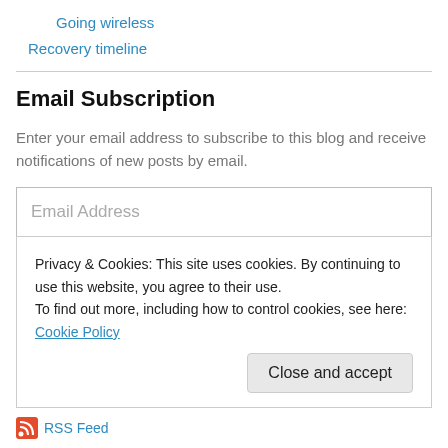Going wireless
Recovery timeline
Email Subscription
Enter your email address to subscribe to this blog and receive notifications of new posts by email.
Email Address
Sign me up!
Privacy & Cookies: This site uses cookies. By continuing to use this website, you agree to their use. To find out more, including how to control cookies, see here: Cookie Policy
Close and accept